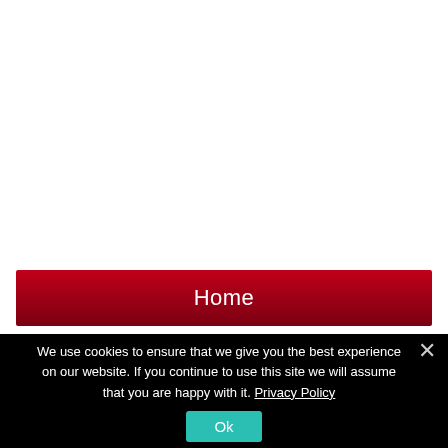[Figure (screenshot): White blank area occupying upper portion of the page]
Home
We use cookies to ensure that we give you the best experience on our website. If you continue to use this site we will assume that you are happy with it. Privacy Policy
Ok